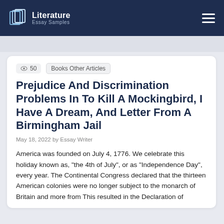Literature Essay Samples
50   Books Other Articles
Prejudice And Discrimination Problems In To Kill A Mockingbird, I Have A Dream, And Letter From A Birmingham Jail
May 18, 2022 by Essay Writer
America was founded on July 4, 1776. We celebrate this holiday known as, “the 4th of July”, or as “Independence Day”, every year. The Continental Congress declared that the thirteen American colonies were no longer subject to the monarch of Britain and more from This resulted in the Declaration of